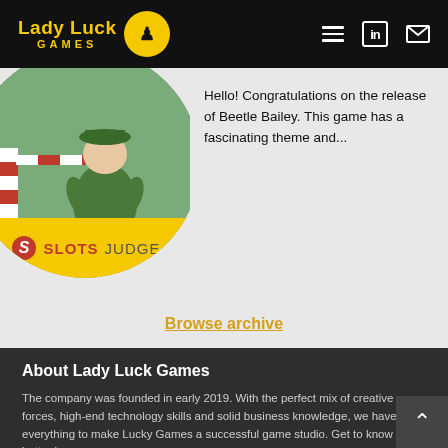Lady Luck Games
[Figure (screenshot): Circular image showing a 3D animated character (Beetle Bailey) in a military uniform, with a red and white barrier. The lower portion of the circle shows a yellow background with the SlotsJudge logo (red S icon and text 'SLOTSJUDGE').]
Hello! Congratulations on the release of Beetle Bailey. This game has a fascinating theme and...
Browse archive
About Lady Luck Games
The company was founded in early 2019. With the perfect mix of creative forces, high-end technology skills and solid business knowledge, we have everything to make Lucky Games a successful game studio. Get to know us better here.